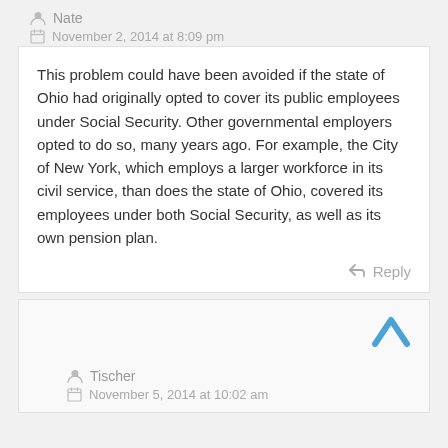Nate
November 2, 2014 at 8:09 pm
This problem could have been avoided if the state of Ohio had originally opted to cover its public employees under Social Security. Other governmental employers opted to do so, many years ago. For example, the City of New York, which employs a larger workforce in its civil service, than does the state of Ohio, covered its employees under both Social Security, as well as its own pension plan.
Reply
Tischer
November 5, 2014 at 10:02 am